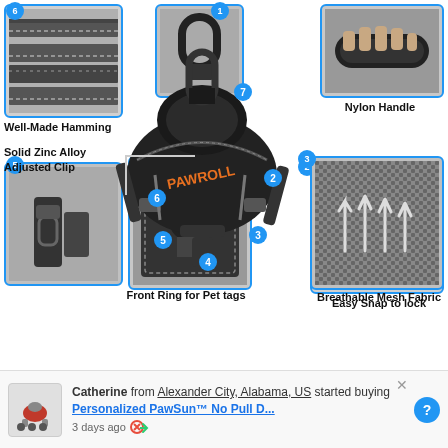[Figure (infographic): Dog harness product infographic showing a black PAWROLL dog harness in the center with numbered callouts (1-7) pointing to various features. Surrounding the central harness are detail thumbnail images showing: reflective stitching strips (callout 6, top-left), a nylon handle close-up (top-right), a buckle snap close-up (callout 2, right), adjustable clip (callout 5, bottom-left), front D-ring panel (callout 4, bottom-center), and breathable mesh fabric (callout 3, bottom-right). Text labels identify: Well-Made Hamming, Nylon Handle, Solid Zinc Alloy Adjusted Clip, Easy Snap to lock, Front Ring for Pet tags, Breathable Mesh Fabric.]
Catherine from Alexander City, Alabama, US started buying Personalized PawSun™ No Pull D... 3 days ago